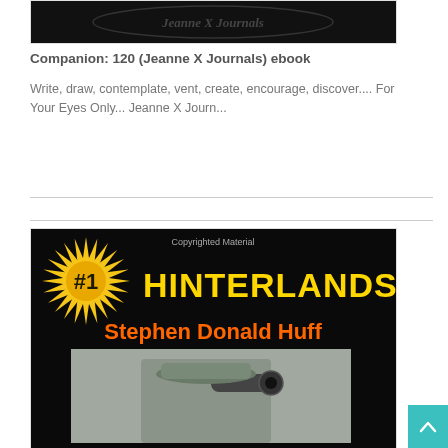[Figure (screenshot): Dark book cover image (top portion cut off, black background) for a journal/companion book]
Companion: 120 (Jeanne X Journals) ebook
Write, draw, contemplate, vent, create, encourage, discover.... For Your Eyes Only... Jeanne X Journ...
[Figure (screenshot): Book cover for '#1 HINTERLANDS' by Stephen Donald Huff. Black background, gold starburst with #1, yellow bold title text HINTERLANDS, orange author name. Below is a partial photo of a person with a rifle scope/camera.]